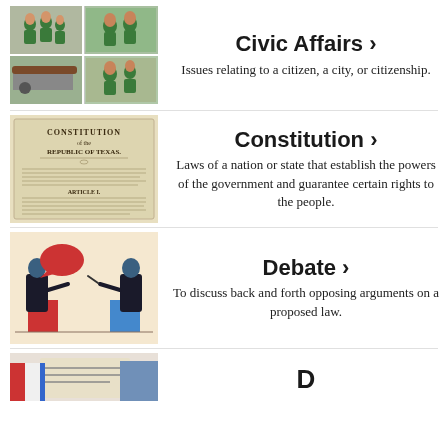[Figure (photo): Collage of people in green shirts doing community volunteer work outdoors]
Civic Affairs >
Issues relating to a citizen, a city, or citizenship.
[Figure (photo): Old document titled Constitution of the Republic of Texas]
Constitution >
Laws of a nation or state that establish the powers of the government and guarantee certain rights to the people.
[Figure (illustration): Stylized illustration of two debaters at podiums with speech bubbles]
Debate >
To discuss back and forth opposing arguments on a proposed law.
[Figure (illustration): Partial illustration visible at bottom of page]